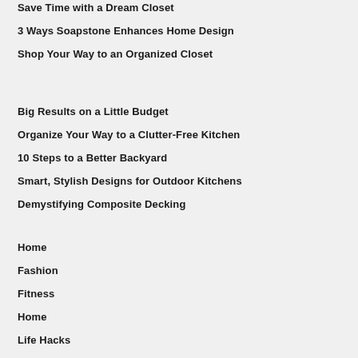Save Time with a Dream Closet
3 Ways Soapstone Enhances Home Design
Shop Your Way to an Organized Closet
Big Results on a Little Budget
Organize Your Way to a Clutter-Free Kitchen
10 Steps to a Better Backyard
Smart, Stylish Designs for Outdoor Kitchens
Demystifying Composite Decking
Home
Fashion
Fitness
Home
Life Hacks